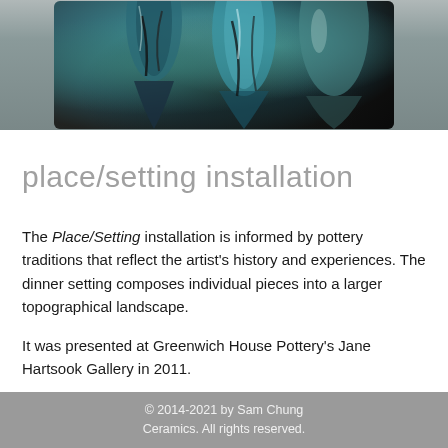[Figure (photo): Ceramic pottery pieces with teal, black, and white glazing arranged together against a gray background]
place/setting installation
The Place/Setting installation is informed by pottery traditions that reflect the artist's history and experiences. The dinner setting composes individual pieces into a larger topographical landscape.
It was presented at Greenwich House Pottery's Jane Hartsook Gallery in 2011.
Click here for gallery
© 2014-2021 by Sam Chung Ceramics. All rights reserved.